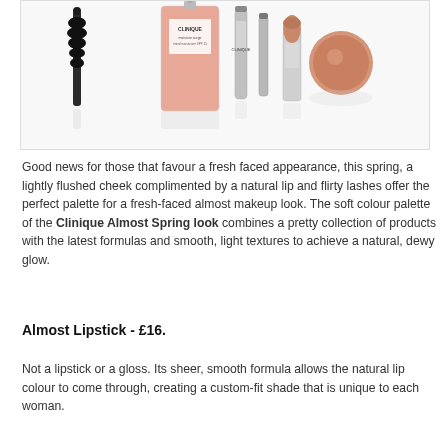[Figure (photo): Clinique beauty products including Moisture Surge moisturizer, mascara wand, and Almost Lipstick products arranged on a white background with reflections]
Good news for those that favour a fresh faced appearance, this spring, a lightly flushed cheek complimented by a natural lip and flirty lashes offer the perfect palette for a fresh-faced almost makeup look. The soft colour palette of the Clinique Almost Spring look combines a pretty collection of products with the latest formulas and smooth, light textures to achieve a natural, dewy glow.
Almost Lipstick - £16.
Not a lipstick or a gloss. Its sheer, smooth formula allows the natural lip colour to come through, creating a custom-fit shade that is unique to each woman.